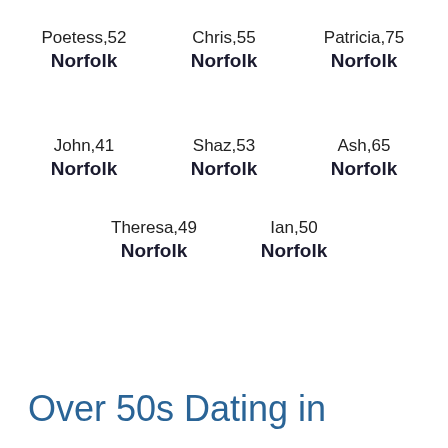Poetess,52
Norfolk
Chris,55
Norfolk
Patricia,75
Norfolk
John,41
Norfolk
Shaz,53
Norfolk
Ash,65
Norfolk
Theresa,49
Norfolk
Ian,50
Norfolk
Over 50s Dating in